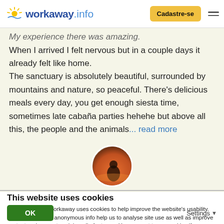workaway.info — Cadastre-se
My experience there was amazing. When I arrived I felt nervous but in a couple days it already felt like home. The sanctuary is absolutely beautiful, surrounded by mountains and nature, so peaceful. There's delicious meals every day, you get enough siesta time, sometimes late cabaña parties hehehe but above all this, the people and the animals... read more
[Figure (photo): Circular profile photo of a person against a sunset/city skyline background]
This website uses cookies
Like most sites, Workaway uses cookies to help improve the website's usability. Cookies providing anonymous info help us to analyse site use as well as improve content and present social media features.  You consent to our cookies if you continue to use our website.
OK   Settings ▾